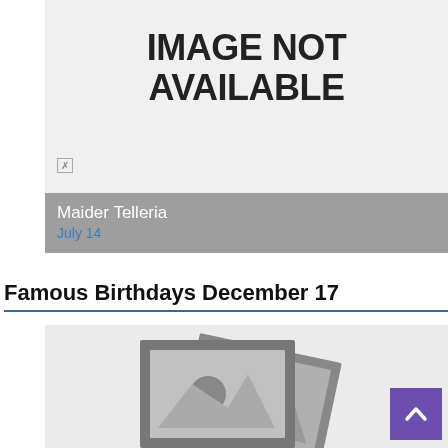[Figure (other): Image not available placeholder with grey background and bold text 'IMAGE NOT AVAILABLE' and a small broken image icon]
Maider Telleria
July 14
Famous Birthdays December 17
[Figure (photo): Stacked photo frames illustration (image not available) with a purple scroll-to-top arrow button in lower right]